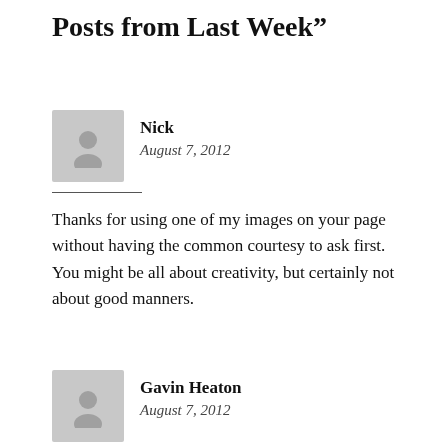Posts from Last Week”
Nick
August 7, 2012
Thanks for using one of my images on your page without having the common courtesy to ask first.
You might be all about creativity, but certainly not about good manners.
Gavin Heaton
August 7, 2012